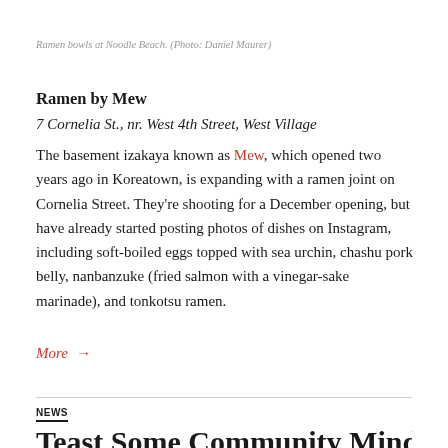Ramen bowls at Noodle Beach. (Photo: Daniel Maurer)
Ramen by Mew
7 Cornelia St., nr. West 4th Street, West Village
The basement izakaya known as Mew, which opened two years ago in Koreatown, is expanding with a ramen joint on Cornelia Street. They’re shooting for a December opening, but have already started posting photos of dishes on Instagram, including soft-boiled eggs topped with sea urchin, chashu pork belly, nanbanzuke (fried salmon with a vinegar-sake marinade), and tonkotsu ramen.
More →
NEWS
Teast Some Community Minded